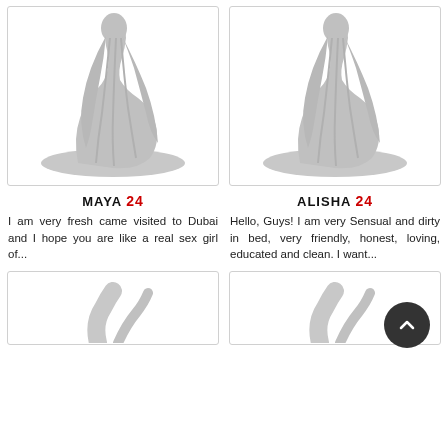[Figure (illustration): Silhouette placeholder image of a kneeling woman with long hair, gray on white background]
[Figure (illustration): Silhouette placeholder image of a kneeling woman with long hair, gray on white background]
MAYA 24
I am very fresh came visited to Dubai and I hope you are like a real sex girl of...
ALISHA 24
Hello, Guys! I am very Sensual and dirty in bed, very friendly, honest, loving, educated and clean. I want...
[Figure (illustration): Partial silhouette placeholder image at bottom left]
[Figure (illustration): Partial silhouette placeholder image at bottom right]